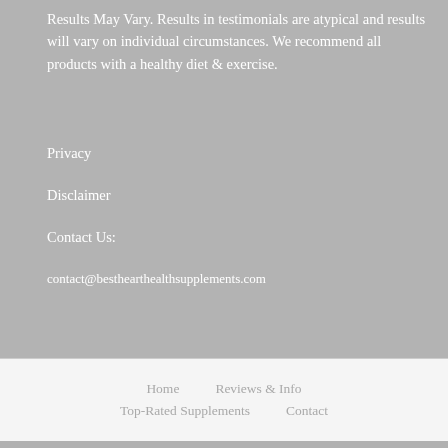Results May Vary. Results in testimonials are atypical and results will vary on individual circumstances. We recommend all products with a healthy diet & exercise.
Privacy
Disclaimer
Contact Us:
contact@besthearthealthsupplements.com
Home   Reviews & Info   Top-Rated Supplements   Contact